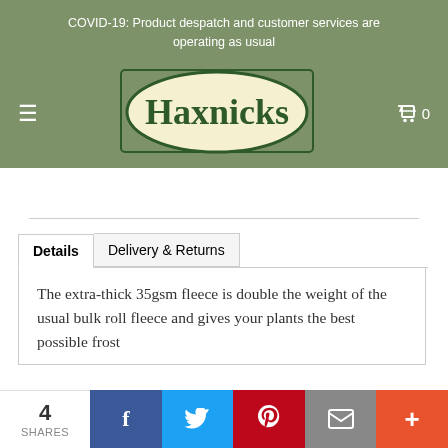COVID-19: Product despatch and customer services are operating as usual
[Figure (logo): Haxnicks brand logo — oval shape with 'Haxnicks' text in dark green serif font on cream/yellow background, inside a rectangular border]
Details  Delivery & Returns
The extra-thick 35gsm fleece is double the weight of the usual bulk roll fleece and gives your plants the best possible frost
4 SHARES